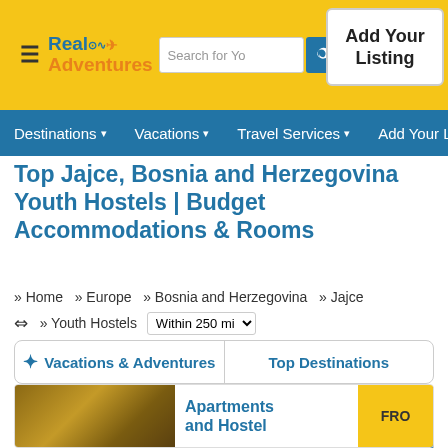Real Adventures — Search for Your destination — Add Your Listing
Destinations ▾   Vacations ▾   Travel Services ▾   Add Your Li…
Top Jajce, Bosnia and Herzegovina Youth Hostels | Budget Accommodations & Rooms
» Home  » Europe  » Bosnia and Herzegovina  » Jajce  ⇔ » Youth Hostels  Within 250 mi
✦ Vacations & Adventures    Top Destinations
— Vacations 1 - 20 of 148
Next »   Sort By  Featured
Apartments and Hostel   FRO